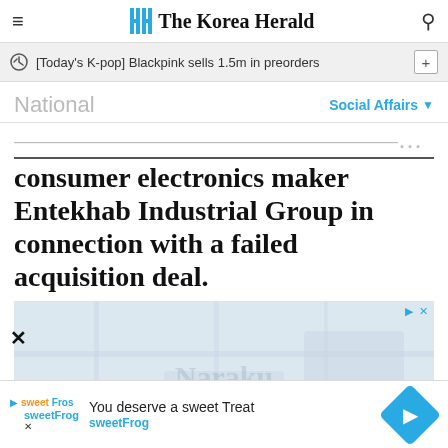The Korea Herald
[Today's K-pop] Blackpink sells 1.5m in preorders
National
Social Affairs
consumer electronics maker Entekhab Industrial Group in connection with a failed acquisition deal.
[Figure (map): Map advertisement area showing a geographic map with 'Naraku' watermark text]
You deserve a sweet Treat
sweetFrog